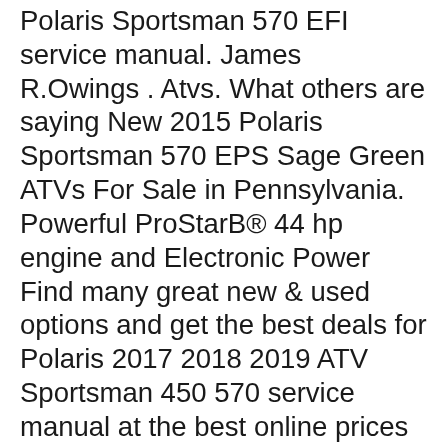Polaris Sportsman 570 EFI service manual. James R.Owings . Atvs. What others are saying New 2015 Polaris Sportsman 570 EPS Sage Green ATVs For Sale in Pennsylvania. Powerful ProStarB® 44 hp engine and Electronic Power Find many great new & used options and get the best deals for Polaris 2017 2018 2019 ATV Sportsman 450 570 service manual at the best online prices at eBay! Free shipping for many products!
Find many great new & used options and get the best deals for 2017-2019 POLARIS SPORTSMAN 450 570 ATV'S DIGITAL SERVICE MANUAL at the best online prices at eBay! Free shipping for